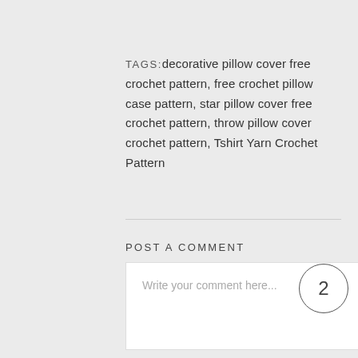TAGS: decorative pillow cover free crochet pattern, free crochet pillow case pattern, star pillow cover free crochet pattern, throw pillow cover crochet pattern, Tshirt Yarn Crochet Pattern
POST A COMMENT
Write your comment here...
2